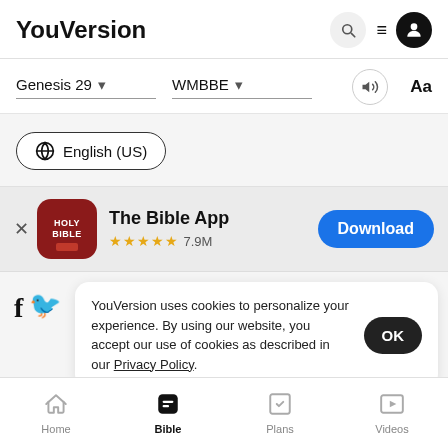YouVersion
Genesis 29 ▾   WMBBE ▾   🔊   Aa
⊕ English (US)
[Figure (screenshot): The Bible App banner with app icon (Holy Bible), 5 stars, 7.9M rating, and Download button]
YouVersion uses cookies to personalize your experience. By using our website, you accept our use of cookies as described in our Privacy Policy.
Home   Bible   Plans   Videos